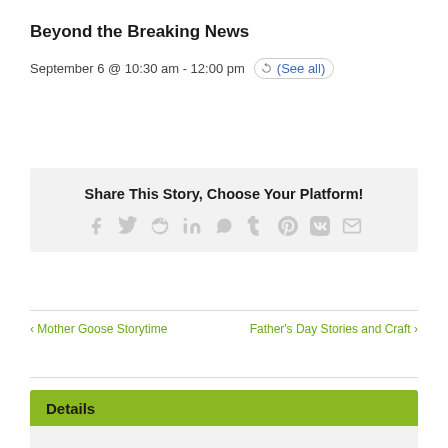Beyond the Breaking News
September 6 @ 10:30 am - 12:00 pm  (See all)
Share This Story, Choose Your Platform!
[Figure (infographic): Social sharing icons: facebook, twitter, reddit, linkedin, whatsapp, tumblr, pinterest, vk, email]
< Mother Goose Storytime      Father's Day Stories and Craft >
Details